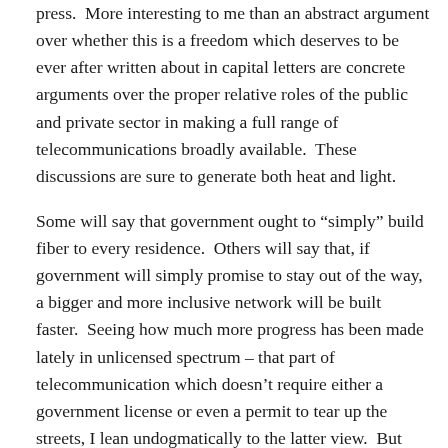press.  More interesting to me than an abstract argument over whether this is a freedom which deserves to be ever after written about in capital letters are concrete arguments over the proper relative roles of the public and private sector in making a full range of telecommunications broadly available.  These discussions are sure to generate both heat and light.
Some will say that government ought to “simply” build fiber to every residence.  Others will say that, if government will simply promise to stay out of the way, a bigger and more inclusive network will be built faster.  Seeing how much more progress has been made lately in unlicensed spectrum – that part of telecommunication which doesn’t require either a government license or even a permit to tear up the streets, I lean undogmatically to the latter view.  But that’s not what I’m speaking about.
I think that the freedom to communicate is threatened if there